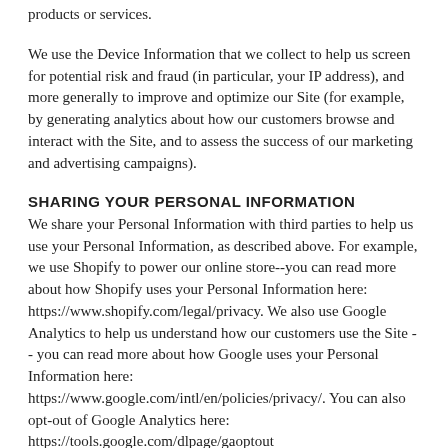products or services.
We use the Device Information that we collect to help us screen for potential risk and fraud (in particular, your IP address), and more generally to improve and optimize our Site (for example, by generating analytics about how our customers browse and interact with the Site, and to assess the success of our marketing and advertising campaigns).
SHARING YOUR PERSONAL INFORMATION
We share your Personal Information with third parties to help us use your Personal Information, as described above. For example, we use Shopify to power our online store--you can read more about how Shopify uses your Personal Information here: https://www.shopify.com/legal/privacy. We also use Google Analytics to help us understand how our customers use the Site -- you can read more about how Google uses your Personal Information here: https://www.google.com/intl/en/policies/privacy/. You can also opt-out of Google Analytics here: https://tools.google.com/dlpage/gaoptout